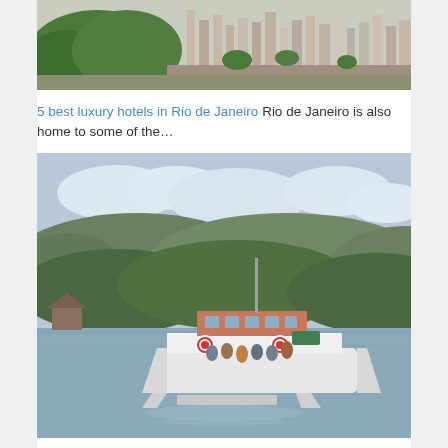[Figure (photo): Aerial view of Rio de Janeiro showing dense urban buildings and green hills]
5 best luxury hotels in Rio de Janeiro Rio de Janeiro is also home to some of the…
[Figure (photo): A white passenger ferry boat on a lake with green forested hills and cloudy sky in the background]